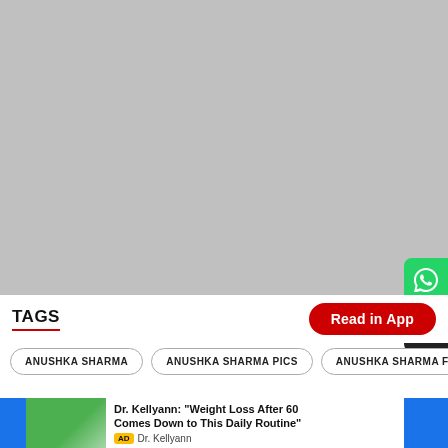[Figure (photo): Large gray image placeholder at the top of the page]
TAGS
Read in App
ANUSHKA SHARMA
ANUSHKA SHARMA PICS
ANUSHKA SHARMA FANS
[Figure (photo): Advertisement: Dr. Kellyann: Weight Loss After 60 Comes Down to This Daily Routine]
Dr. Kellyann: "Weight Loss After 60 Comes Down to This Daily Routine"
AD Dr. Kellyann